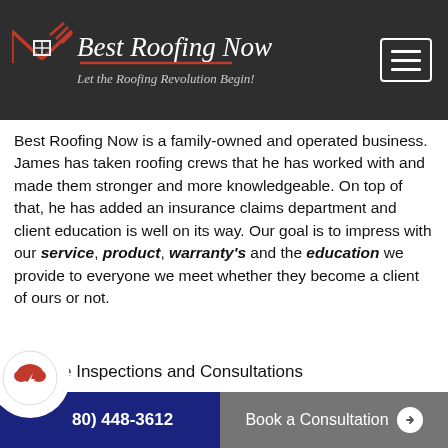[Figure (logo): Best Roofing Now logo with red house/roof icon and script text. Tagline: Let the Roofing Revolution Begin!]
Best Roofing Now is a family-owned and operated business. James has taken roofing crews that he has worked with and made them stronger and more knowledgeable. On top of that, he has added an insurance claims department and client education is well on its way. Our goal is to impress with our service, product, warranty's and the education we provide to everyone we meet whether they become a client of ours or not.
Free Inspections and Consultations
(480) 448-3612
Book a Consultation